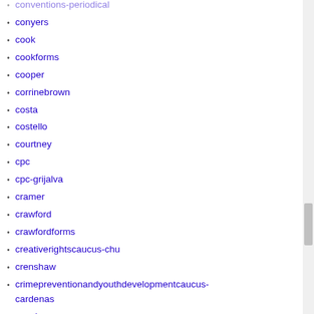conventions-periodical (1)
conyers (1)
cook (1)
cookforms (1)
cooper (1)
corrinebrown (1)
costa (1)
costello (1)
courtney (1)
cpc (1)
cpc-grijalva (1)
cramer (1)
crawford (1)
crawfordforms (1)
creativerightscaucus-chu (1)
crenshaw (2)
crimepreventionandyouthdevelopmentcaucus-cardenas (1)
crowley (2)
cuellar (1)
cuellarforms (1)
culberson (1)
culbersonforms (1)
cummings (1)
curbelo (1)
curbeloforms (1)
cybercaucus (1)
dankildee (1)
davidschweikert (1)